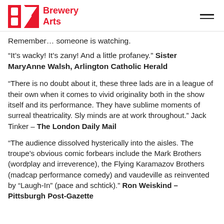Brewery Arts
Remember… someone is watching.
“It’s wacky! It’s zany! And a little profaney.” Sister MaryAnne Walsh, Arlington Catholic Herald
“There is no doubt about it, these three lads are in a league of their own when it comes to vivid originality both in the show itself and its performance. They have sublime moments of surreal theatricality. Sly minds are at work throughout.” Jack Tinker – The London Daily Mail
“The audience dissolved hysterically into the aisles. The troupe’s obvious comic forbears include the Mark Brothers (wordplay and irreverence), the Flying Karamazov Brothers (madcap performance comedy) and vaudeville as reinvented by “Laugh-In” (pace and schtick).” Ron Weiskind – Pittsburgh Post-Gazette